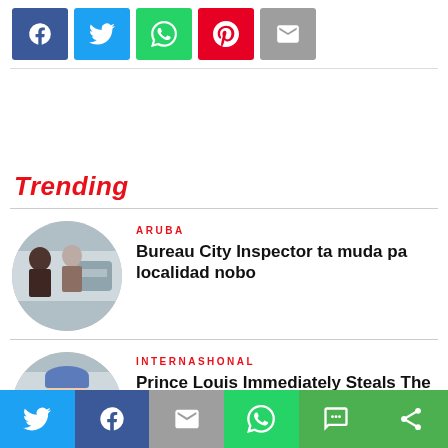[Figure (other): Social share buttons top bar: Facebook (blue), Twitter (light blue), WhatsApp (green), Pinterest (red), Email (grey)]
Trending
[Figure (photo): Circular thumbnail photo of two people talking outdoors near vehicles]
ARUBA
Bureau City Inspector ta muda pa localidad nobo
[Figure (photo): Circular thumbnail photo of an elderly person wearing a blue hat]
INTERNASHONAL
Prince Louis Immediately Steals The Present With A Scream From
[Figure (other): Bottom social share bar: Twitter, Facebook, Email, WhatsApp, SMS, More]